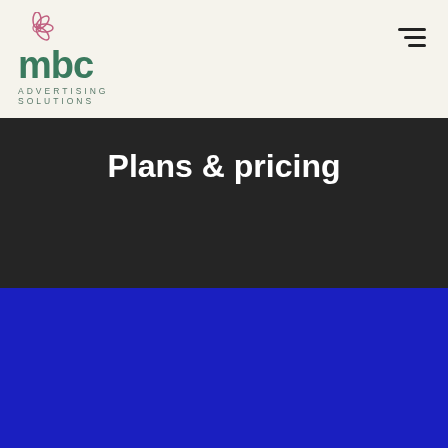[Figure (logo): MBC Advertising Solutions logo with flower icon above letters 'mbc' in green and 'ADVERTISING SOLUTIONS' in small caps below]
Plans & pricing